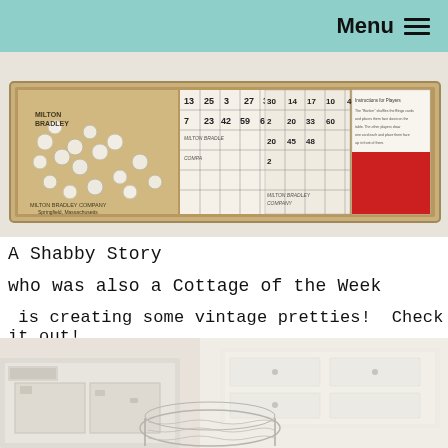Menu ☰
[Figure (photo): Vintage Milton Bradley bingo game box open, showing bingo cards with numbers, wooden tokens, and a red cardboard section inside a cardboard box, photographed on a light surface.]
A Shabby Story
who was also a Cottage of the Week
is creating some vintage pretties!  Check it out!
[Figure (photo): Close-up photo of vintage shabby chic white chippy painted furniture pieces — a dresser or cabinet with peeling paint, a mirror or frame, photographed in soft warm light.]